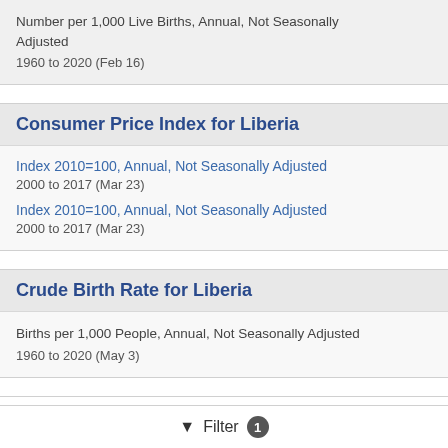Number per 1,000 Live Births, Annual, Not Seasonally Adjusted
1960 to 2020 (Feb 16)
Consumer Price Index for Liberia
Index 2010=100, Annual, Not Seasonally Adjusted
2000 to 2017 (Mar 23)
Index 2010=100, Annual, Not Seasonally Adjusted
2000 to 2017 (Mar 23)
Crude Birth Rate for Liberia
Births per 1,000 People, Annual, Not Seasonally Adjusted
1960 to 2020 (May 3)
Filter 1